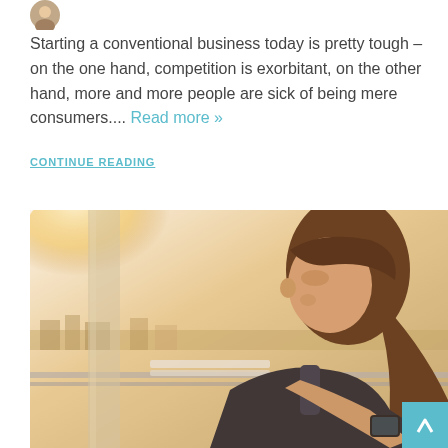[Figure (photo): Small circular avatar/profile photo thumbnail in top-left corner]
Starting a conventional business today is pretty tough – on the one hand, competition is exorbitant, on the other hand, more and more people are sick of being mere consumers.... Read more »
CONTINUE READING
[Figure (photo): A young woman with long brown hair sitting outdoors on a bench looking down at her smartphone, with a warm golden-hour backlight and city skyline in the background]